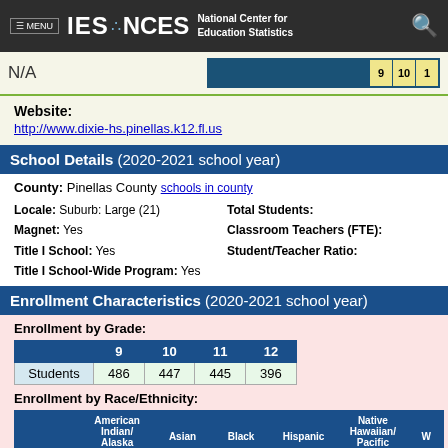IES NCES National Center for Education Statistics
N/A
Website: http://www.dixie-hs.pinellas.k12.fl.us
School Details (2020-2021 school year)
County: Pinellas County schools in county
Locale: Suburb: Large (21)
Magnet: Yes
Title I School: Yes
Title I School-Wide Program: Yes
Total Students:
Classroom Teachers (FTE):
Student/Teacher Ratio:
Enrollment Characteristics (2020-2021 school year)
Enrollment by Grade:
|  | 9 | 10 | 11 | 12 |
| --- | --- | --- | --- | --- |
| Students | 486 | 447 | 445 | 396 |
Enrollment by Race/Ethnicity:
|  | American Indian/ Alaska Native | Asian | Black | Hispanic | Native Hawaiian/ Pacific Islander | W |
| --- | --- | --- | --- | --- | --- | --- |
| Students | 3 | 182 | 237 | 343 | 8 |  |